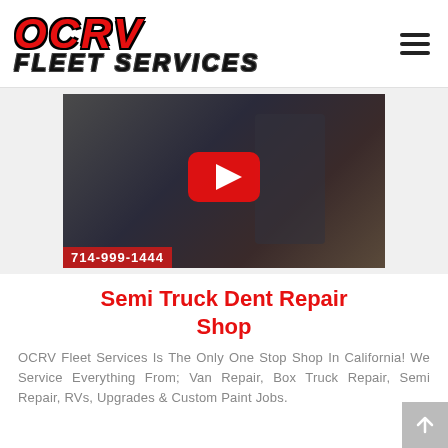OCRV FLEET SERVICES
[Figure (screenshot): YouTube video thumbnail showing a man in a dark jacket standing in front of RVs, with a red YouTube play button overlay in the center and a red phone number bar at the bottom showing 714-999-1444]
Semi Truck Dent Repair Shop
OCRV Fleet Services Is The Only One Stop Shop In California! We Service Everything From; Van Repair, Box Truck Repair, Semi Repair, RVs, Upgrades & Custom Paint Jobs.